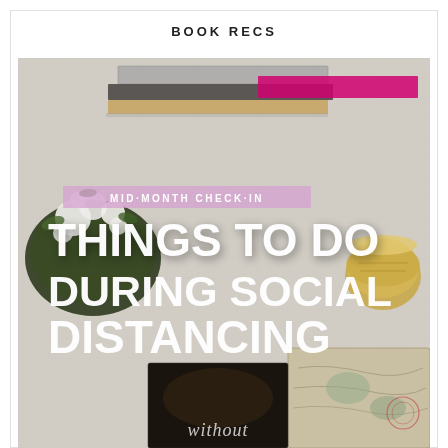BOOK RECS
[Figure (photo): Flat lay photo of books, white flowers in a bowl, a candle jar, a map, and a dark book at the bottom showing the word 'without'. Overlaid text reads 'MID-MONTH CHECK-IN' on a pink banner, and large white bold text 'THINGS TO DO DURING SOCIAL DISTANCING'.]